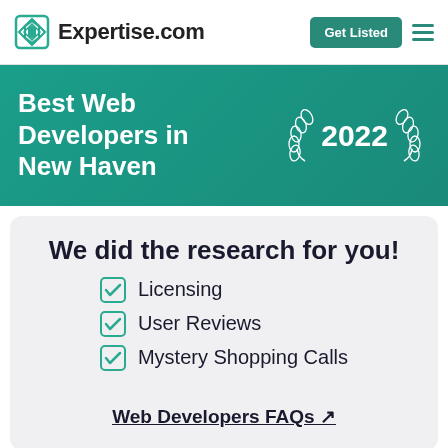Expertise.com
Best Web Developers in New Haven
2022
We did the research for you!
Licensing
User Reviews
Mystery Shopping Calls
Web Developers FAQs ↗
REVIEWS: 10 PROVIDERS
SELECTION CRITERIA